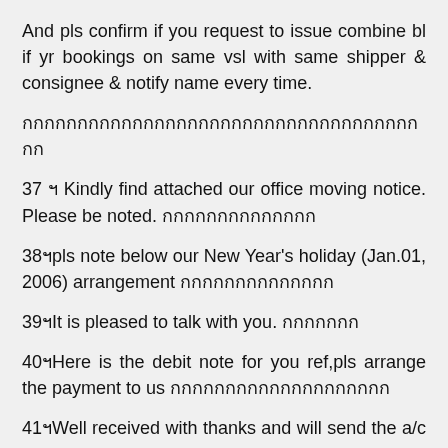And pls confirm if you request to issue combine bl if yr bookings on same vsl with same shipper & consignee & notify name every time.
กกกกกกกกกกกกกกกกกกกกกกกกกกกกกกกกกกกกกก
37 ฯ Kindly find attached our office moving notice. Please be noted. กกกกกกกกกกกกกก
38ฯpls note below our New Year's holiday (Jan.01, 2006) arrangement กกกกกกกกกกกกกก
39ฯIt is pleased to talk with you. กกกกกกก
40ฯHere is the debit note for you ref,pls arrange the payment to us กกกกกกกกกกกกกกกกกกกก
41ฯWell received with thanks and will send the a/c to